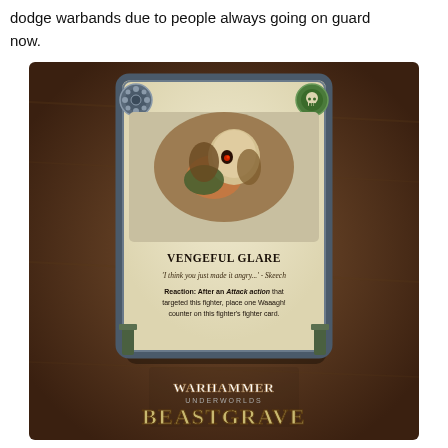dodge warbands due to people always going on guard now.
[Figure (photo): Warhammer Underworlds: Beastgrave game card showing 'Vengeful Glare' — a reaction card featuring art of a small creature with a skull-like pale mask face. Card text reads: 'I think you just made it angry...' - Skeech. Reaction: After an Attack action that targeted this fighter, place one Waaagh! counter on this fighter's fighter card. Card has decorative fantasy border with gear icon top-left and skull icon top-right. Warhammer Underworlds Beastgrave logo at bottom.]